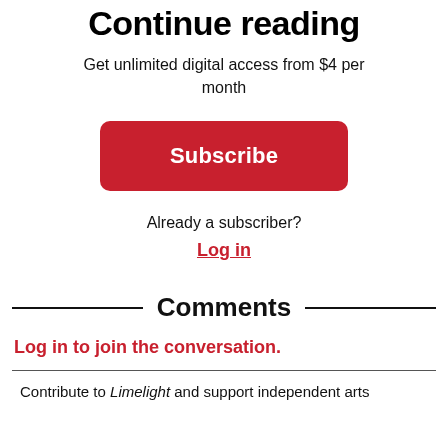Continue reading
Get unlimited digital access from $4 per month
Subscribe
Already a subscriber?
Log in
Comments
Log in to join the conversation.
Contribute to Limelight and support independent arts